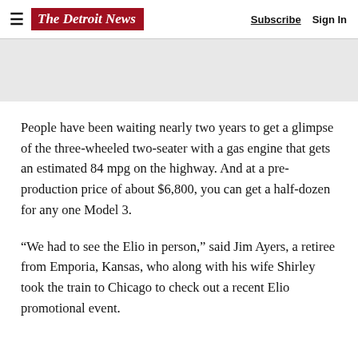The Detroit News  Subscribe  Sign In
[Figure (other): Gray advertisement/banner placeholder area]
People have been waiting nearly two years to get a glimpse of the three-wheeled two-seater with a gas engine that gets an estimated 84 mpg on the highway. And at a pre-production price of about $6,800, you can get a half-dozen for any one Model 3.
“We had to see the Elio in person,” said Jim Ayers, a retiree from Emporia, Kansas, who along with his wife Shirley took the train to Chicago to check out a recent Elio promotional event.